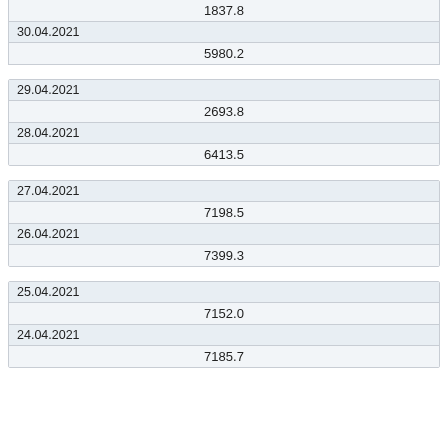| Date | Value |
| --- | --- |
| 01.05.2021 (partial) | 1837.8 |
| 30.04.2021 | 5980.2 |
| Date | Value |
| --- | --- |
| 29.04.2021 | 2693.8 |
| 28.04.2021 | 6413.5 |
| Date | Value |
| --- | --- |
| 27.04.2021 | 7198.5 |
| 26.04.2021 | 7399.3 |
| Date | Value |
| --- | --- |
| 25.04.2021 | 7152.0 |
| 24.04.2021 | 7185.7 |